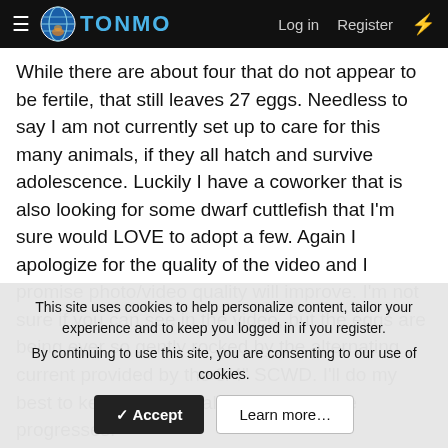TONMO — Log in   Register
While there are about four that do not appear to be fertile, that still leaves 27 eggs. Needless to say I am not currently set up to care for this many animals, if they all hatch and survive adolescence. Luckily I have a coworker that is also looking for some dwarf cuttlefish that I'm sure would LOVE to adopt a few. Again I apologize for the quality of the video and I promise photo/video quality will improve. I'm not sure if you can see in the video, but the eggs are being ever so gently rocked by the alternating current provided by the 3/4" SCWD. I'll do my best to keep this journal updated as time progresses.
skywindsurfer
This site uses cookies to help personalize content, tailor your experience and to keep you logged in if you register.
By continuing to use this site, you are consenting to our use of cookies.